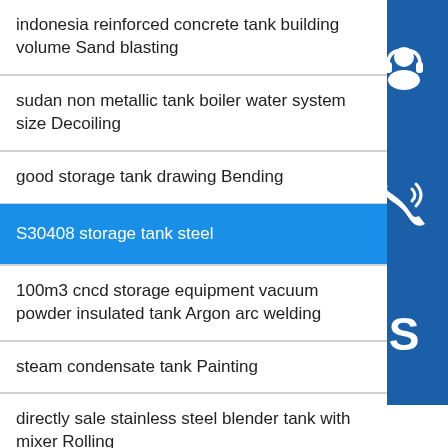indonesia reinforced concrete tank building volume Sand blasting
sudan non metallic tank boiler water system size Decoiling
good storage tank drawing Bending
S30408 storage tank steel
100m3 cncd storage equipment vacuum powder insulated tank Argon arc welding
steam condensate tank Painting
directly sale stainless steel blender tank with mixer Rolling